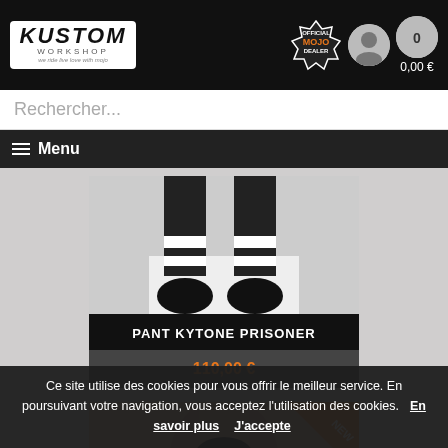[Figure (screenshot): Kustom Workshop website header with logo, Official Mojo Dealer badge, user icon, and cart showing 0,00 €]
Rechercher...
≡ Menu
[Figure (photo): Product photo showing legs wearing black and white striped socks with black shoes]
PANT KYTONE PRISONER
110,00 €
[Figure (photo): Second product photo showing mannequin torso with NEW badge in orange corner]
Ce site utilise des cookies pour vous offrir le meilleur service. En poursuivant votre navigation, vous acceptez l'utilisation des cookies. En savoir plus J'accepte